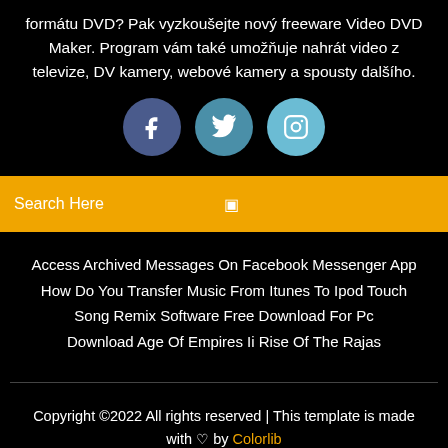formátu DVD? Pak vyzkoušejte nový freeware Video DVD Maker. Program vám také umožňuje nahrát video z televize, DV kamery, webové kamery a spousty dalšího.
[Figure (other): Three social media icon circles: Facebook (dark blue), Twitter (medium blue), Instagram (light blue)]
Search Here
Access Archived Messages On Facebook Messenger App
How Do You Transfer Music From Itunes To Ipod Touch
Song Remix Software Free Download For Pc
Download Age Of Empires Ii Rise Of The Rajas
Copyright ©2022 All rights reserved | This template is made with ♡ by Colorlib